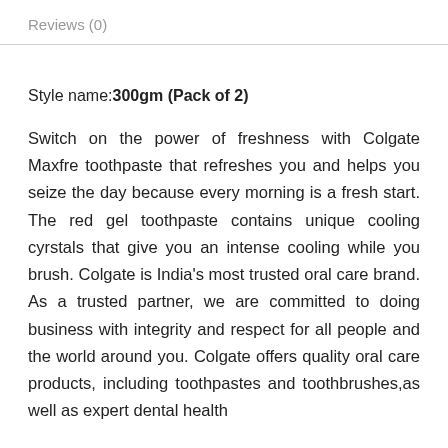Reviews (0)
Style name:300gm (Pack of 2)
Switch on the power of freshness with Colgate Maxfre toothpaste that refreshes you and helps you seize the day because every morning is a fresh start. The red gel toothpaste contains unique cooling cyrstals that give you an intense cooling while you brush. Colgate is India's most trusted oral care brand. As a trusted partner, we are committed to doing business with integrity and respect for all people and the world around you. Colgate offers quality oral care products, including toothpastes and toothbrushes,as well as expert dental health